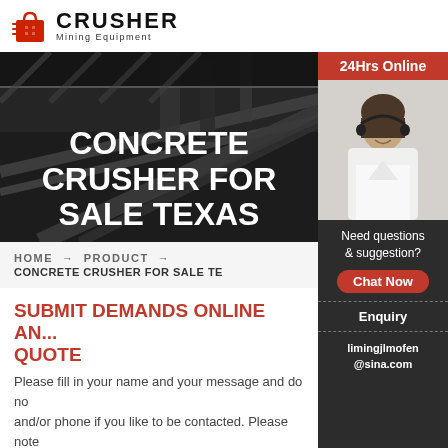[Figure (logo): Crusher Mining Equipment logo with red shopping bag icon and bold CRUSHER text]
[Figure (photo): Dark industrial hero banner showing crusher/conveyor machinery with text overlay 'CONCRETE CRUSHER FOR SALE TEXAS']
CONCRETE CRUSHER FOR SALE TEXAS
[Figure (photo): 24Hrs Online customer service sidebar with woman wearing headset, Need questions & suggestion, Chat Now button, Enquiry, limingjlmofen@sina.com]
HOME → PRODUCT →
CONCRETE CRUSHER FOR SALE TE...
SUBMIT DEMANDS ONLINE AN... QUOTE
Please fill in your name and your message and do not forget email and/or phone if you like to be contacted. Please note that you need to have a mail programme to use this function.